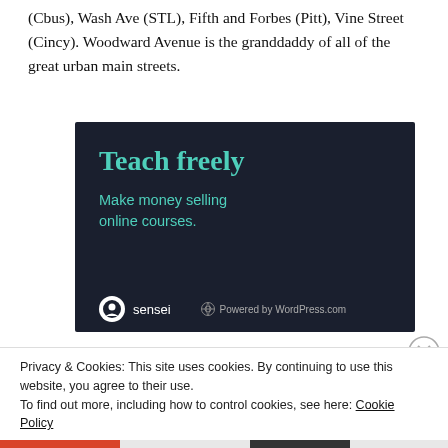(Cbus), Wash Ave (STL), Fifth and Forbes (Pitt), Vine Street (Cincy). Woodward Avenue is the granddaddy of all of the great urban main streets.
[Figure (illustration): Advertisement banner with dark navy background. Large teal text reads 'Teach freely'. Smaller teal text reads 'Make money selling online courses.' Bottom shows Sensei logo and 'Powered by WordPress.com' text.]
Privacy & Cookies: This site uses cookies. By continuing to use this website, you agree to their use.
To find out more, including how to control cookies, see here: Cookie Policy
Close and accept